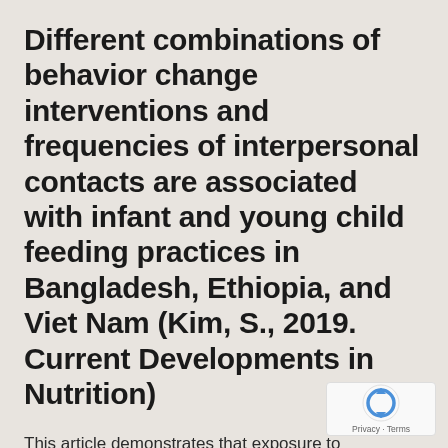Different combinations of behavior change interventions and frequencies of interpersonal contacts are associated with infant and young child feeding practices in Bangladesh, Ethiopia, and Viet Nam (Kim, S., 2019. Current Developments in Nutrition)
This article demonstrates that exposure to interventions matters for impact, but the combination of behavior change interventions and number of interpersonal counseling contacts required to support